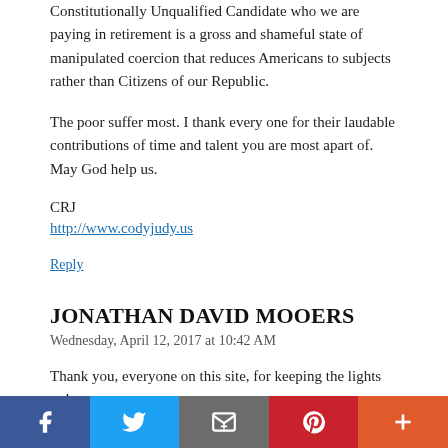Constitutionally Unqualified Candidate who we are paying in retirement is a gross and shameful state of manipulated coercion that reduces Americans to subjects rather than Citizens of our Republic.
The poor suffer most. I thank every one for their laudable contributions of time and talent you are most apart of. May God help us.
CRJ
http://www.codyjudy.us
Reply
JONATHAN DAVID MOOERS
Wednesday, April 12, 2017 at 10:42 AM
Thank you, everyone on this site, for keeping the lights on!
“Obama II” has escaped prison for ID felony because millions of